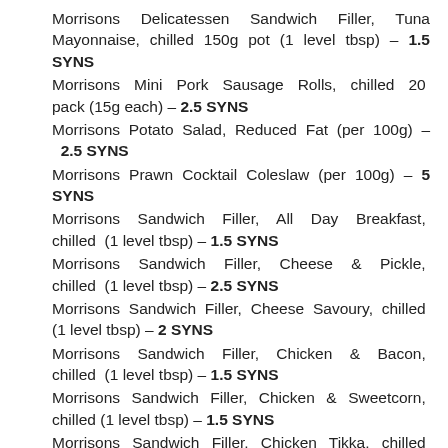Morrisons Delicatessen Sandwich Filler, Tuna Mayonnaise, chilled 150g pot (1 level tbsp) – 1.5 SYNS
Morrisons Mini Pork Sausage Rolls, chilled 20 pack (15g each) – 2.5 SYNS
Morrisons Potato Salad, Reduced Fat (per 100g) – 2.5 SYNS
Morrisons Prawn Cocktail Coleslaw (per 100g) – 5 SYNS
Morrisons Sandwich Filler, All Day Breakfast, chilled (1 level tbsp) – 1.5 SYNS
Morrisons Sandwich Filler, Cheese & Pickle, chilled (1 level tbsp) – 2.5 SYNS
Morrisons Sandwich Filler, Cheese Savoury, chilled (1 level tbsp) – 2 SYNS
Morrisons Sandwich Filler, Chicken & Bacon, chilled (1 level tbsp) – 1.5 SYNS
Morrisons Sandwich Filler, Chicken & Sweetcorn, chilled (1 level tbsp) – 1.5 SYNS
Morrisons Sandwich Filler, Chicken Tikka, chilled (1